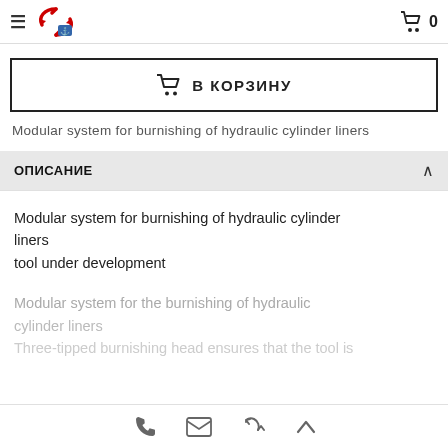Navigation header with hamburger menu, logo, and cart icon showing 0
В КОРЗИНУ
Modular system for burnishing of hydraulic cylinder liners
ОПИСАНИЕ
Modular system for burnishing of hydraulic cylinder liners
tool under development
Modular system for the burnishing of hydraulic cylinder liners
Three-tipped burnishing head ensures that the tool is